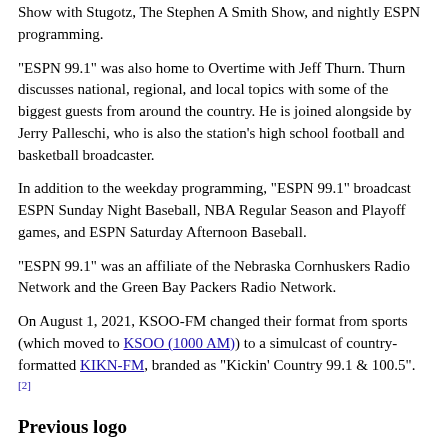Show with Stugotz, The Stephen A Smith Show, and nightly ESPN programming.
"ESPN 99.1" was also home to Overtime with Jeff Thurn. Thurn discusses national, regional, and local topics with some of the biggest guests from around the country. He is joined alongside by Jerry Palleschi, who is also the station's high school football and basketball broadcaster.
In addition to the weekday programming, "ESPN 99.1" broadcast ESPN Sunday Night Baseball, NBA Regular Season and Playoff games, and ESPN Saturday Afternoon Baseball.
"ESPN 99.1" was an affiliate of the Nebraska Cornhuskers Radio Network and the Green Bay Packers Radio Network.
On August 1, 2021, KSOO-FM changed their format from sports (which moved to KSOO (1000 AM)) to a simulcast of country-formatted KIKN-FM, branded as "Kickin' Country 99.1 & 100.5". [2]
Previous logo
[Figure (logo): ESPN logo in red with large bold letters 'ESPN']